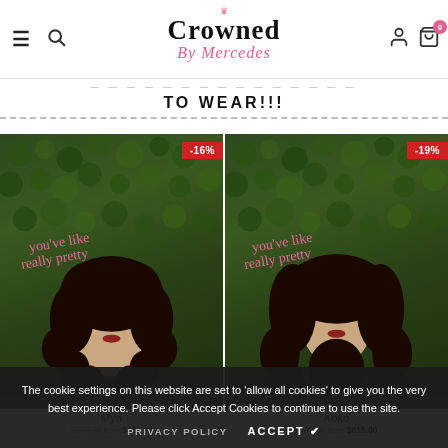Crowned By Mercedes
ALL WIGS ARE READY TO BE ORDERED AND READY TO WEAR!!!
[Figure (photo): Product photo of a short curly wig on a mannequin against a green hedge background with pink neon text 'you've like really pretty'. Discount badge -16%.]
[Figure (photo): Product photo of a long curly wig on a mannequin against a green hedge background with pink neon text 'you've like really pretty'. Discount badge -19%.]
SELECT OPTIONS
SELECT OPTIONS
Mya
Koko
$550.00 from $480.00
$615.00 from $615.00
The cookie settings on this website are set to 'allow all cookies' to give you the very best experience. Please click Accept Cookies to continue to use the site.
PRIVACY POLICY   ACCEPT ✔